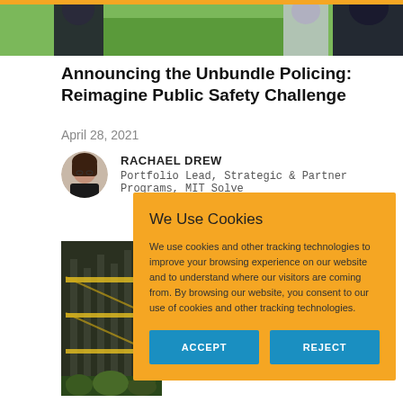[Figure (photo): Top banner photo of police officer and graduation scene]
Announcing the Unbundle Policing: Reimagine Public Safety Challenge
April 28, 2021
RACHAEL DREW
Portfolio Lead, Strategic & Partner Programs, MIT Solve
[Figure (photo): Partially visible tab labeled 'Par' and background building photo with yellow scaffolding]
We Use Cookies

We use cookies and other tracking technologies to improve your browsing experience on our website and to understand where our visitors are coming from. By browsing our website, you consent to our use of cookies and other tracking technologies.